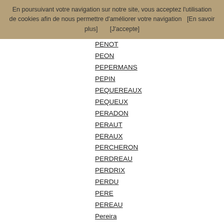En poursuivant votre navigation sur notre site, vous acceptez l'utilisation de cookies afin de nous permettre d'améliorer votre navigation   [En savoir plus]        [J'accepte]
PENOT
PEON
PEPERMANS
PEPIN
PEQUEREAUX
PEQUEUX
PERADON
PERAUT
PERAUX
PERCHERON
PERDREAU
PERDRIX
PERDU
PERE
PEREAU
Pereira
PÃ RILLA
PERILLAT
Perin
PERINNE
PERLERIN
Perlot